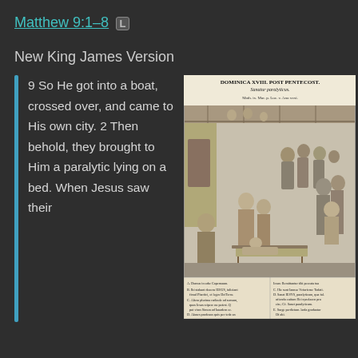Matthew 9:1–8 [L]
New King James Version
9 So He got into a boat, crossed over, and came to His own city. 2 Then behold, they brought to Him a paralytic lying on a bed. When Jesus saw their
[Figure (illustration): Historical engraving titled 'DOMINICA XVIII. POST PENTECOST. Sanatur paralyticus.' depicting a scene of Jesus healing the paralytic, with a crowd of robed figures in an interior hall, a man on a bed in the foreground, and a text caption panel at the bottom in Latin.]